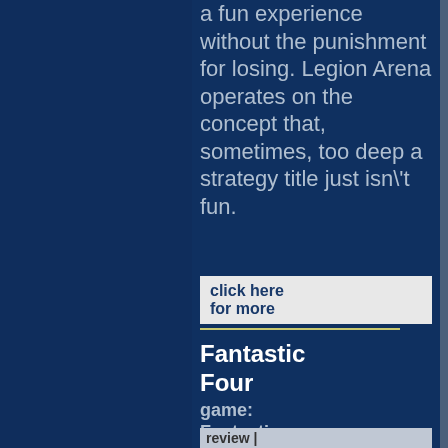a fun experience without the punishment for losing. Legion Arena operates on the concept that, sometimes, too deep a strategy title just isn't fun.
click here for more
Fantastic Four
game: Fantastic Four
review |